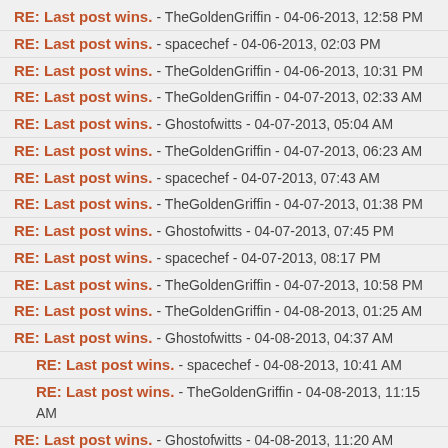RE: Last post wins. - TheGoldenGriffin - 04-06-2013, 12:58 PM
RE: Last post wins. - spacechef - 04-06-2013, 02:03 PM
RE: Last post wins. - TheGoldenGriffin - 04-06-2013, 10:31 PM
RE: Last post wins. - TheGoldenGriffin - 04-07-2013, 02:33 AM
RE: Last post wins. - Ghostofwitts - 04-07-2013, 05:04 AM
RE: Last post wins. - TheGoldenGriffin - 04-07-2013, 06:23 AM
RE: Last post wins. - spacechef - 04-07-2013, 07:43 AM
RE: Last post wins. - TheGoldenGriffin - 04-07-2013, 01:38 PM
RE: Last post wins. - Ghostofwitts - 04-07-2013, 07:45 PM
RE: Last post wins. - spacechef - 04-07-2013, 08:17 PM
RE: Last post wins. - TheGoldenGriffin - 04-07-2013, 10:58 PM
RE: Last post wins. - TheGoldenGriffin - 04-08-2013, 01:25 AM
RE: Last post wins. - Ghostofwitts - 04-08-2013, 04:37 AM
RE: Last post wins. - spacechef - 04-08-2013, 10:41 AM
RE: Last post wins. - TheGoldenGriffin - 04-08-2013, 11:15 AM
RE: Last post wins. - Ghostofwitts - 04-08-2013, 11:20 AM
RE: Last post wins. - TheGoldenGriffin - 04-08-2013, 11:43 AM
RE: Last post wins. - spacechef - 04-08-2013, 01:23 PM
RE: Last post wins. - TheGoldenGriffin - 04-08-2013, 01:24 PM
RE: Last post wins. - TheGoldenGriffin - 04-08-2013, 09:36 PM
RE: Last post wins. - Ghostofwitts - 04-09-2013, 01:30 AM
RE: Last post wins. - spacechef - 04-09-2013, 05:25 AM